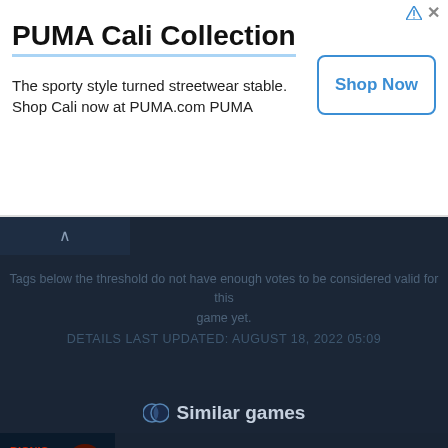[Figure (screenshot): PUMA Cali Collection advertisement banner with Shop Now button]
PUMA Cali Collection
The sporty style turned streetwear stable. Shop Cali now at PUMA.com PUMA
Tags below the threshold do not have enough votes to be considered valid for this game yet.
DETAILS LAST UPDATED: AUGUST 18, 2022 05:09
Similar games
Bionic Dues (2013)
Steam Marines (2013)
Age of Gladiators II: Death League (2017)
Star Hammer: The Vanguard Prophecy (2015)
Druidstone: The Secret of the Menhir Forest (2019)